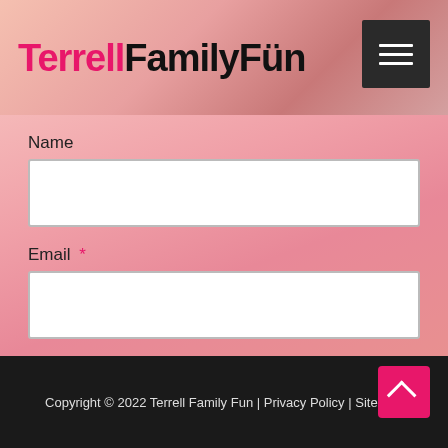TerrellFamilyFün
Name
Email *
Submit
Copyright © 2022 Terrell Family Fun | Privacy Policy | Sitemap